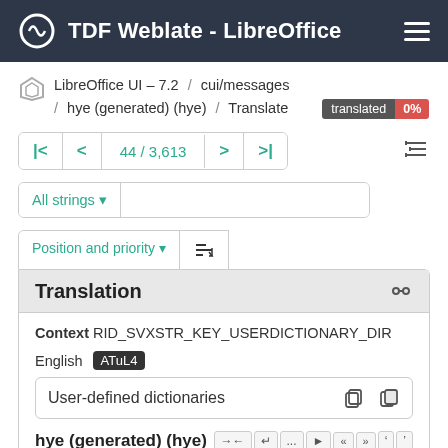TDF Weblate - LibreOffice
LibreOffice UI – 7.2 / cui/messages / hye (generated) (hye) / Translate  translated 0%
44 / 3,613
All strings
Position and priority
Translation
Context RID_SVXSTR_KEY_USERDICTIONARY_DIR
English ATuL4
User-defined dictionaries
hye (generated) (hye)